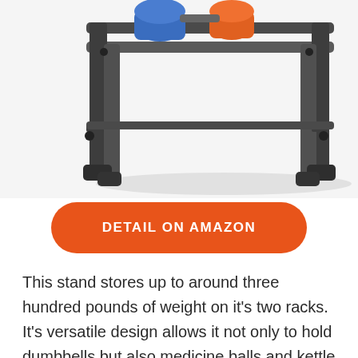[Figure (photo): Dumbbell rack / weight stand shown from front-below angle, with blue and orange dumbbells on top rack, dark grey metal frame with two horizontal bars and four feet with rubber pads, on white background.]
DETAIL ON AMAZON
This stand stores up to around three hundred pounds of weight on it's two racks. It's versatile design allows it not only to hold dumbbells but also medicine balls and kettle bells. It fits most sizes of these equipment's